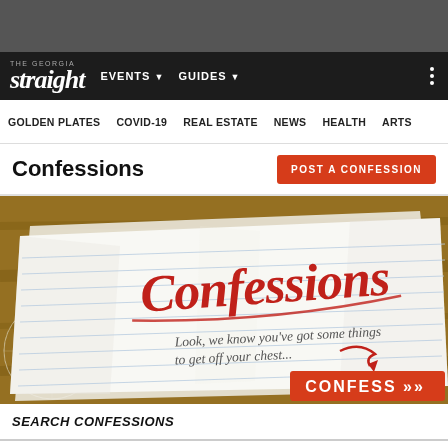The Georgia Straight — EVENTS ▾ GUIDES ▾
GOLDEN PLATES  COVID-19  REAL ESTATE  NEWS  HEALTH  ARTS
Confessions
[Figure (illustration): Banner image showing crumpled lined notebook paper on a wooden table with a lace doily. In red cursive script: 'Confessions'. Below in handwritten text: 'Look, we know you've got some things to get off your chest...' with a red arrow and a red button reading 'CONFESS >>']
SEARCH CONFESSIONS